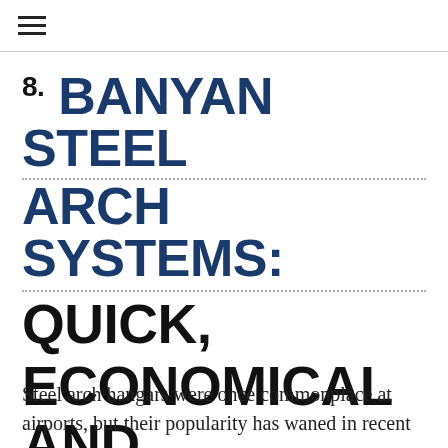≡
8. BANYAN STEEL ARCH SYSTEMS: QUICK, ECONOMICAL AND SAFE
Steel arch hangars were once commonplace at airports, but their popularity has waned in recent